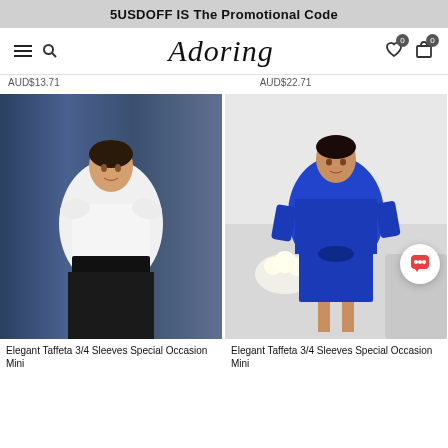5USDOFF IS The Promotional Code
[Figure (screenshot): Website navigation bar with hamburger menu, search icon, 'Adoring' logo in script font, wishlist and cart icons with 0 badges]
AUD$13.71  AUD$22.71
[Figure (photo): Fashion product photo: woman wearing white bolero jacket with black lace belt over black skirt, standing before blue curtain backdrop]
[Figure (photo): Fashion product photo: woman wearing royal blue taffeta 3/4 sleeve bolero jacket and matching short dress, standing in white room with flowers]
Elegant Taffeta 3/4 Sleeves Special Occasion Mini
Elegant Taffeta 3/4 Sleeves Special Occasion Mini